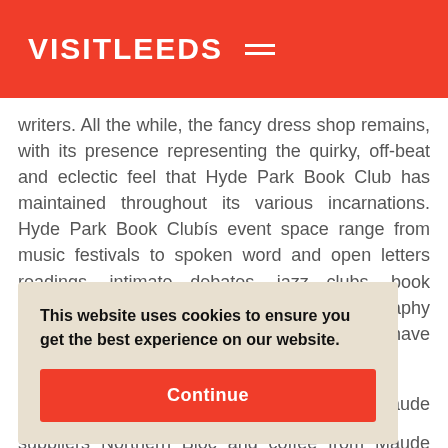VISITLEEDS
writers. All the while, the fancy dress shop remains, with its presence representing the quirky, off-beat and eclectic feel that Hyde Park Book Club has maintained throughout its various incarnations. Hyde Park Book Clubís event space range from music festivals to spoken word and open letters readings, intimate debates, jazz clubs, book launches, book clubs, theatre, art and photography exhibitions and even local club nights, that have started at
This website uses cookies to ensure you get the best experience on our website.
Continue
suppliers Northern Bloc and coffee from Maude coffee